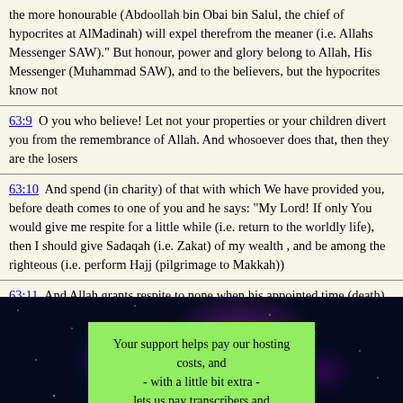the more honourable (Abdoollah bin Obai bin Salul, the chief of hypocrites at AlMadinah) will expel therefrom the meaner (i.e. Allahs Messenger SAW)." But honour, power and glory belong to Allah, His Messenger (Muhammad SAW), and to the believers, but the hypocrites know not
63:9  O you who believe! Let not your properties or your children divert you from the remembrance of Allah. And whosoever does that, then they are the losers
63:10  And spend (in charity) of that with which We have provided you, before death comes to one of you and he says: "My Lord! If only You would give me respite for a little while (i.e. return to the worldly life), then I should give Sadaqah (i.e. Zakat) of my wealth , and be among the righteous (i.e. perform Hajj (pilgrimage to Makkah))
63:11  And Allah grants respite to none when his appointed time (death) comes. And Allah is All-Aware of what you do
Your support helps pay our hosting costs, and - with a little bit extra - lets us pay transcribers and proofreaders.